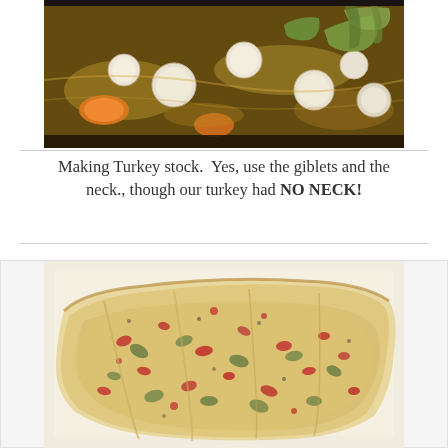[Figure (photo): Close-up photo of turkey stock being made in a pot, showing pearl onions, vegetables, herbs (rosemary/tarragon), and broth]
Making Turkey stock.  Yes, use the giblets and the neck., though our turkey had NO NECK!
[Figure (photo): Close-up photo of flatbread or focaccia with red and green toppings (cranberries and herbs/olives), appearing baked and golden]